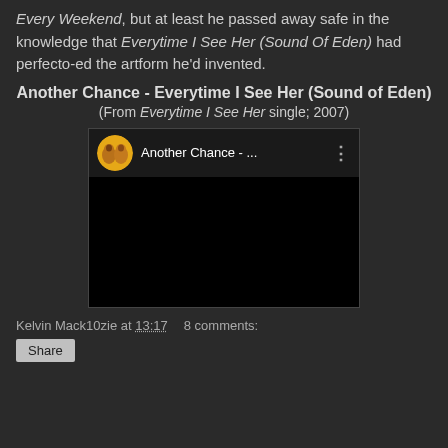Every Weekend, but at least he passed away safe in the knowledge that Everytime I See Her (Sound Of Eden) had perfecto-ed the artform he'd invented.
Another Chance - Everytime I See Her (Sound of Eden)
(From Everytime I See Her single; 2007)
[Figure (screenshot): Embedded YouTube-style video player showing 'Another Chance - ...' with a circular orange channel icon featuring silhouette figures, and a three-dot menu icon on the right. The main video area is black.]
Kelvin Mack10zie at 13:17   8 comments: